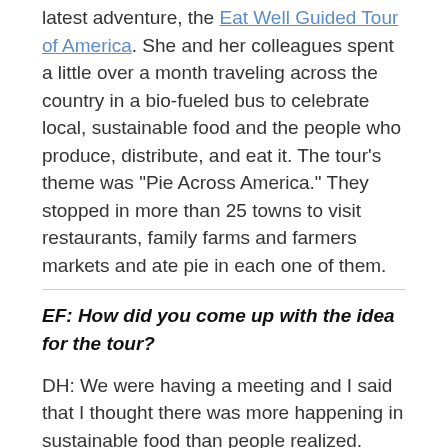latest adventure, the Eat Well Guided Tour of America. She and her colleagues spent a little over a month traveling across the country in a bio-fueled bus to celebrate local, sustainable food and the people who produce, distribute, and eat it. The tour's theme was "Pie Across America." They stopped in more than 25 towns to visit restaurants, family farms and farmers markets and ate pie in each one of them.
EF: How did you come up with the idea for the tour?
DH: We were having a meeting and I said that I thought there was more happening in sustainable food than people realized. Years ago, I used to roadtrip randomly – no maps, no watches. And I always found that the pies were amazing in the places where we stopped. So I said I thought it'd be great to go across the country promoting sustainable